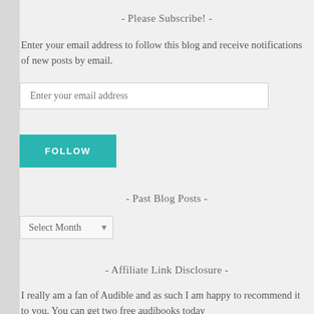- Please Subscribe! -
Enter your email address to follow this blog and receive notifications of new posts by email.
[Figure (other): Email input field with placeholder 'Enter your email address' and a teal FOLLOW button]
- Past Blog Posts -
[Figure (other): Dropdown select element with 'Select Month' placeholder]
- Affiliate Link Disclosure -
I really am a fan of Audible and as such I am happy to recommend it to you. You can get two free audiobooks today